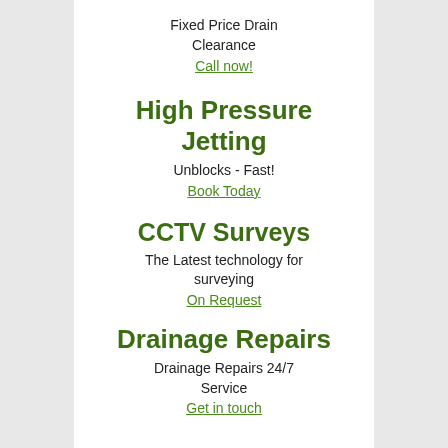Fixed Price Drain Clearance
Call now!
High Pressure Jetting
Unblocks - Fast!
Book Today
CCTV Surveys
The Latest technology for surveying
On Request
Drainage Repairs
Drainage Repairs 24/7 Service
Get in touch